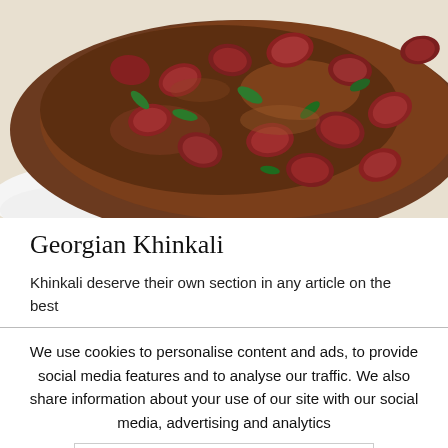[Figure (photo): Close-up photo of Georgian Khinkali dish - dark reddish-brown bean or kidney bean stew with green herbs on a white plate]
Georgian Khinkali
Khinkali deserve their own section in any article on the best
We use cookies to personalise content and ads, to provide social media features and to analyse our traffic. We also share information about your use of our site with our social media, advertising and analytics
[Figure (screenshot): Advertisement banner: Ashburn OPEN 8AM-10PM, 44110 Ashburn Shopping P...]